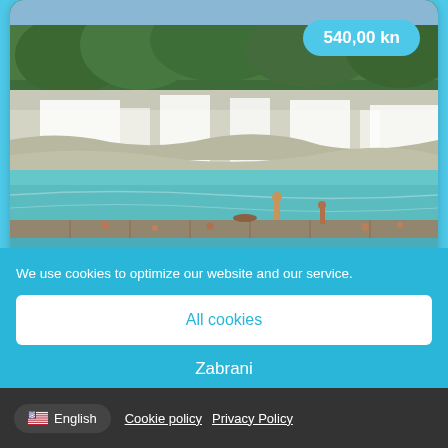[Figure (photo): Waterfall landscape at Krka National Park with multiple cascading waterfalls, green trees in background, turquoise water pools, and people swimming/standing on wooden platforms in the foreground. Price badge showing 540,00 kn in top right corner.]
We use cookies to optimize our website and our service.
All cookies
Zabrani
English
Cookie policy  Privacy Policy